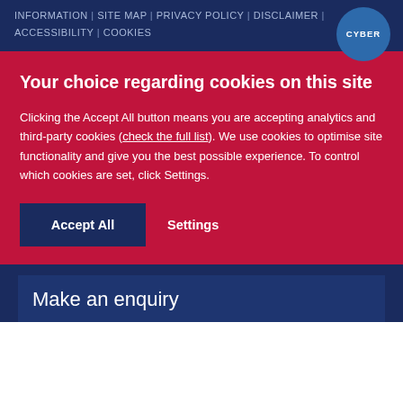INFORMATION | SITE MAP | PRIVACY POLICY | DISCLAIMER | ACCESSIBILITY | COOKIES
Your choice regarding cookies on this site
Clicking the Accept All button means you are accepting analytics and third-party cookies (check the full list). We use cookies to optimise site functionality and give you the best possible experience. To control which cookies are set, click Settings.
Accept All
Settings
Make an enquiry